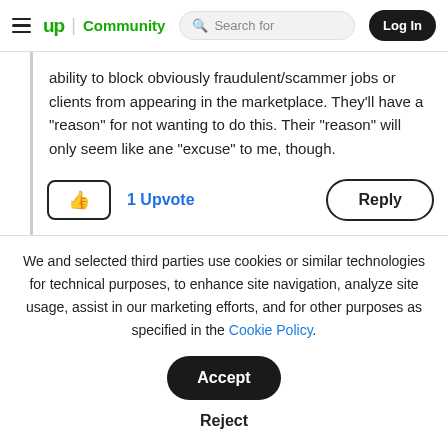up Community | Search for | Log In
ability to block obviously fraudulent/scammer jobs or clients from appearing in the marketplace. They'll have a "reason" for not wanting to do this. Their "reason" will only seem like ane "excuse" to me, though.
1 Upvote   Reply
We and selected third parties use cookies or similar technologies for technical purposes, to enhance site navigation, analyze site usage, assist in our marketing efforts, and for other purposes as specified in the Cookie Policy.
Accept   Reject